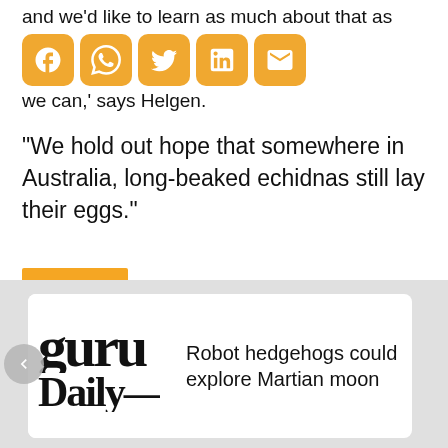and we'd like to learn as much about that as we can,' says Helgen.
[Figure (other): Social sharing icons: Facebook, WhatsApp, Twitter, LinkedIn, Email — orange/amber rounded square buttons]
“We hold out hope that somewhere in Australia, long-beaked echidnas still lay their eggs.”
SCIENCE
[Figure (screenshot): Carousel card showing Guru Daily logo text and headline: Robot hedgehogs could explore Martian moon. Gray background with white card, previous arrow button on left.]